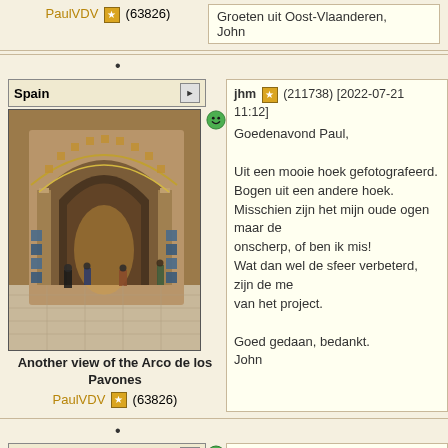PaulVDV (63826)
Groeten uit Oost-Vlaanderen,
John
[Figure (photo): Interior photo of ornate Moorish architecture - the Arco de los Pavones, showing elaborate arched doorways with intricate tilework and geometric patterns, visitors visible inside]
Another view of the Arco de los Pavones
PaulVDV (63826)
jhm (211738) [2022-07-21 11:12]
Goedenavond Paul,

Uit een mooie hoek gefotografeerd.
Bogen uit een andere hoek.
Misschien zijn het mijn oude ogen maar de onscherp, of ben ik mis!
Wat dan wel de sfeer verbeterd, zijn de me van het project.

Goed gedaan, bedankt.
John
jhm (211738) [2022-07-20 11:20]